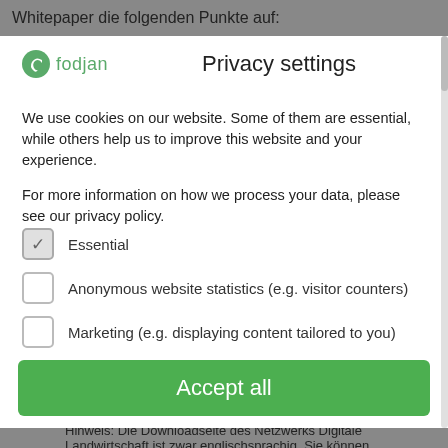Whitepaper die folgenden Punkte auf:
Privacy settings
We use cookies on our website. Some of them are essential, while others help us to improve this website and your experience.
For more information on how we process your data, please see our privacy policy.
✓ Essential
Anonymous website statistics (e.g. visitor counters)
Marketing (e.g. displaying content tailored to you)
External media
Accept all
Hinweis: Die Downloadseite des Netzwerks Digitale Landwirtschaft ist zwar englischsprachig, Sie können